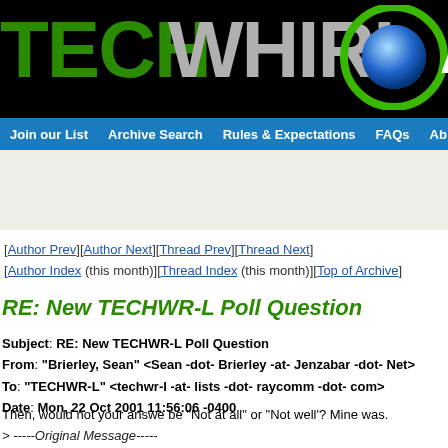[Figure (logo): TechWhirl Archive logo: 'TECH' in green bold letters, 'WHIRL' in gray bold letters, globe icon with green ring, on black background]
Join our List   Archive Search   Rules & Expectations   FAQs   Ab
[Figure (other): Advertisement banner area with beige/tan background]
[Author Prev][Author Next][Thread Prev][Thread Next]
[Author Index (this month)][Thread Index (this month)][Top of Archive]
RE: New TECHWR-L Poll Question
Subject: RE: New TECHWR-L Poll Question
From: "Brierley, Sean" <Sean -dot- Brierley -at- Jenzabar -dot- Net>
To: "TECHWR-L" <techwr-l -at- lists -dot- raycomm -dot- com>
Date: Mon, 22 Oct 2001 11:56:06 -0400
Then, would not your answe be "Not at all" or "Not well'? Mine was.
> -----Original Message-----
> From: KMcLauchlan -at- chrysalis-its -dot- com [SMTP:KMcLauchlan -at- ch...
> > How well are the technical writing tools and processes